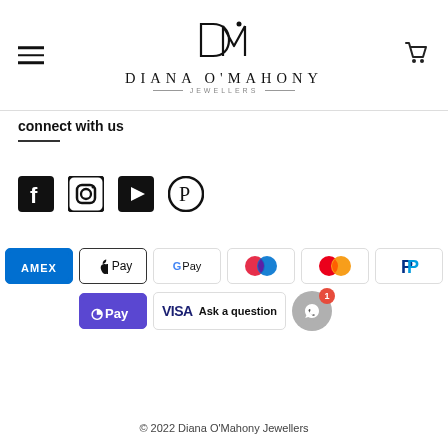[Figure (logo): Diana O'Mahony Jewellers logo with DM monogram and full brand name]
connect with us
[Figure (infographic): Social media icons: Facebook, Instagram, YouTube, Pinterest]
[Figure (infographic): Payment method badges: AMEX, Apple Pay, Google Pay, Maestro, Mastercard, PayPal, OPay, VISA, Ask a question, WhatsApp chat bubble with 1 notification]
© 2022 Diana O'Mahony Jewellers